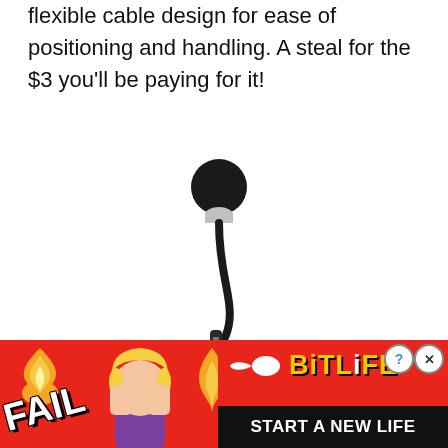flexible cable design for ease of positioning and handling. A steal for the $3 you'll be paying for it!
[Figure (photo): A small black mini microphone with a flexible gooseneck cable and a 3.5mm audio jack plug at the bottom, photographed on a white background.]
[Figure (infographic): BitLife mobile game advertisement banner with red background, showing 'FAIL' text, a cartoon blonde woman facepalming, flame graphics, a sperm logo, 'BitLife' yellow text, and 'START A NEW LIFE' black bar at the bottom.]